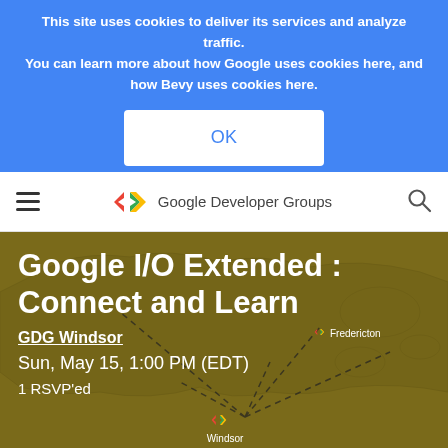This site uses cookies to deliver its services and analyze traffic. You can learn more about how Google uses cookies here, and how Bevy uses cookies here.
[Figure (screenshot): OK button on blue cookie banner]
[Figure (logo): Google Developer Groups logo with colored chevron arrows and wordmark]
[Figure (map): Map background showing eastern Canada/Nova Scotia region with dashed lines and GDG location markers including Windsor and Fredericton]
Google I/O Extended : Connect and Learn
GDG Windsor
Sun, May 15, 1:00 PM (EDT)
1 RSVP'ed